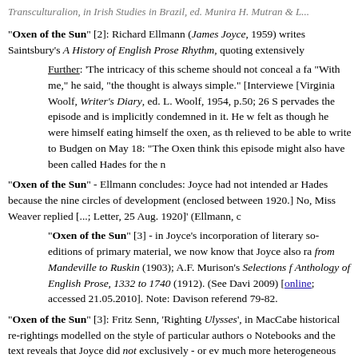Transculturalion, in Irish Studies in Brazil, ed. Munira H. Mutran & L...
"Oxen of the Sun" [2]: Richard Ellmann (James Joyce, 1959) writes... Saintsbury's A History of English Prose Rhythm, quoting extensively
Further: 'The intricacy of this scheme should not conceal a fa... "With me," he said, "the thought is always simple." [Interview... [Virginia Woolf, Writer's Diary, ed. L. Woolf, 1954, p.50; 26 S... pervades the episode and is implicitly condemned in it. He w... felt as though he were himself eating himself the oxen, as th... relieved to be able to write to Budgen on May 18: "The Oxen... think this episode might also have been called Hades for the n...
"Oxen of the Sun" - Ellmann concludes: Joyce had not intended ar... Hades because the nine circles of development (enclosed between... 1920.] No, Miss Weaver replied [...; Letter, 25 Aug. 1920]' (Ellmann, c...
"Oxen of the Sun" [3] - in Joyce's incorporation of literary so... editions of primary material, we now know that Joyce also ra... from Mandeville to Ruskin (1903); A.F. Murison's Selections f... Anthology of English Prose, 1332 to 1740 (1912). (See Davi... 2009) [online; accessed 21.05.2010]. Note: Davison referend... 79-82.
"Oxen of the Sun" [3]: Fritz Senn, 'Righting Ulysses', in MacCabe... historical re-rightings modelled on the style of particular authors o... Notebooks and the text reveals that Joyce did not exclusively - or ev... much more heterogeneous conception of stylistic normalcy in strikin...
"Oxen of the Sun"...